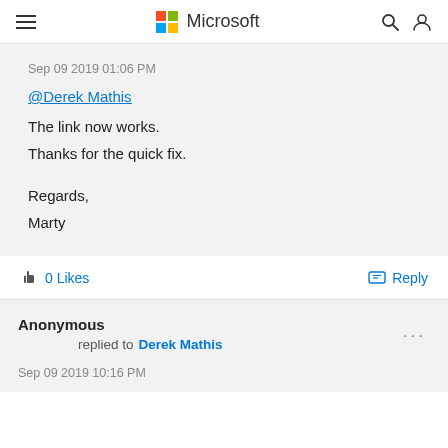Microsoft
Sep 09 2019 01:06 PM
@Derek Mathis
The link now works.
Thanks for the quick fix.

Regards,
Marty
0 Likes
Reply
Anonymous
replied to Derek Mathis
Sep 09 2019 10:16 PM